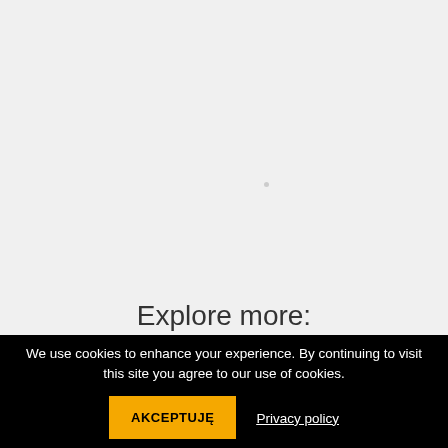[Figure (screenshot): Light gray background area representing a webpage content area with a faint small dot/marker near center]
Explore more:
We use cookies to enhance your experience. By continuing to visit this site you agree to our use of cookies.
AKCEPTUJĘ
Privacy policy